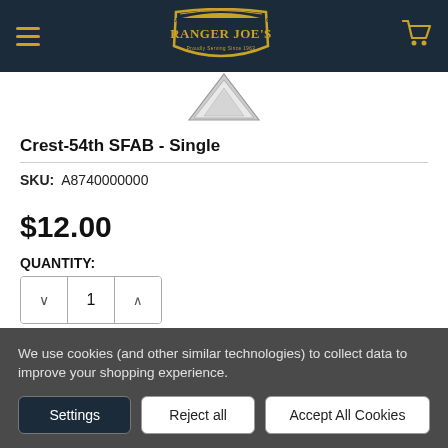Ranger Joe's - Military & Law Enforcement Gear
[Figure (logo): Ranger Joe's military and law enforcement gear store logo badge in gold and dark navy]
Crest-54th SFAB - Single
SKU: A8740000000
$12.00
QUANTITY:
We use cookies (and other similar technologies) to collect data to improve your shopping experience.
Settings | Reject all | Accept All Cookies